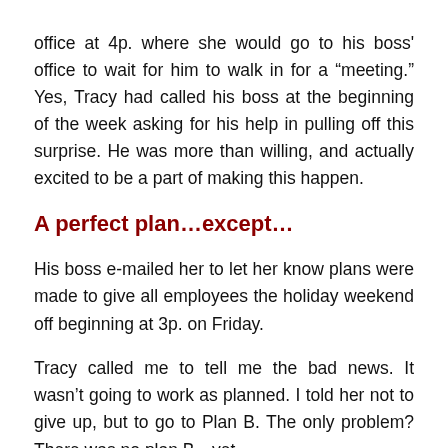office at 4p. where she would go to his boss' office to wait for him to walk in for a “meeting.” Yes, Tracy had called his boss at the beginning of the week asking for his help in pulling off this surprise. He was more than willing, and actually excited to be a part of making this happen.
A perfect plan…except…
His boss e-mailed her to let her know plans were made to give all employees the holiday weekend off beginning at 3p. on Friday.
Tracy called me to tell me the bad news. It wasn’t going to work as planned. I told her not to give up, but to go to Plan B. The only problem? There was no plan B…yet.
We talked it through and worked out another way to make